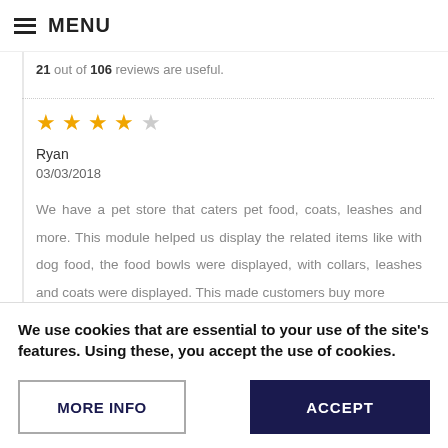MENU
21 out of 106 reviews are useful.
★★★★☆ Ryan 03/03/2018 We have a pet store that caters pet food, coats, leashes and more. This module helped us display the related items like with dog food, the food bowls were displayed, with collars, leashes and coats were displayed. This made customers buy more
We use cookies that are essential to your use of the site's features. Using these, you accept the use of cookies.
MORE INFO
ACCEPT
Yes